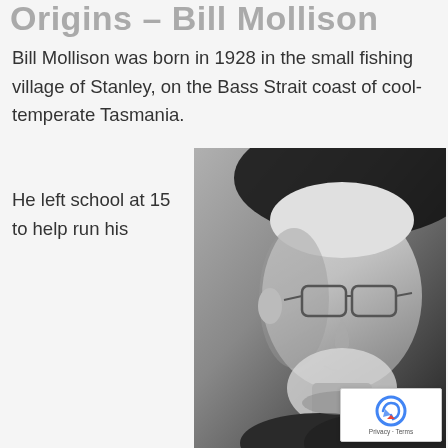Origins – Bill Mollison
Bill Mollison was born in 1928 in the small fishing village of Stanley, on the Bass Strait coast of cool-temperate Tasmania.
He left school at 15 to help run his
[Figure (photo): Black and white portrait photograph of an elderly man with white hair and beard, wearing glasses and a dark jacket, looking to the side.]